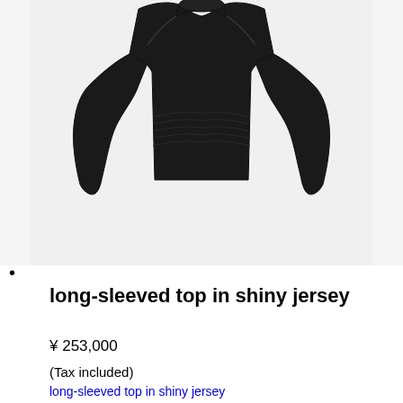[Figure (photo): Black long-sleeved top with ruched/gathered waist detail, photographed flat on white/light grey background]
•
long-sleeved top in shiny jersey
¥ 253,000
(Tax included)
long-sleeved top in shiny jersey